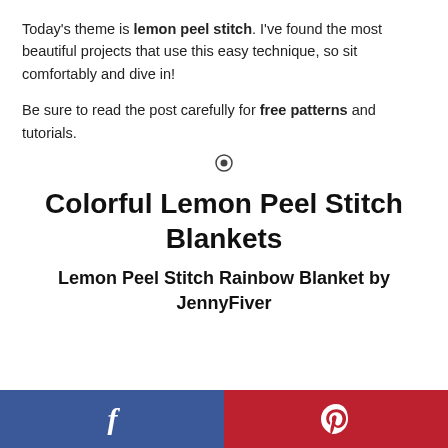Today's theme is lemon peel stitch. I've found the most beautiful projects that use this easy technique, so sit comfortably and dive in!
Be sure to read the post carefully for free patterns and tutorials.
[Figure (other): Small decorative divider icon — a circle with a dot inside]
Colorful Lemon Peel Stitch Blankets
Lemon Peel Stitch Rainbow Blanket by JennyFiver
Facebook and Pinterest share buttons